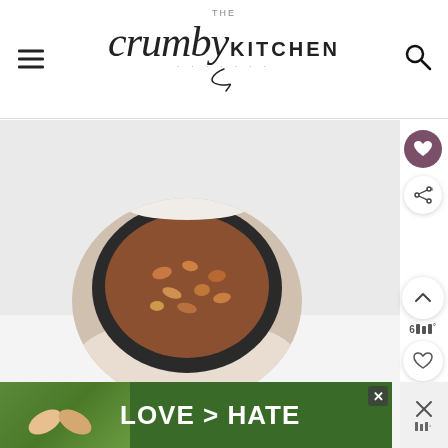THE crumby KITCHEN
[Figure (screenshot): Website screenshot of The Crumby Kitchen food blog showing navigation header with hamburger menu, logo, search icon, social sharing buttons on the right side, a food photograph circle showing a dish with nuts/granola in a dark bowl, and an advertisement banner at the bottom reading LOVE > HATE with a heart hands image.]